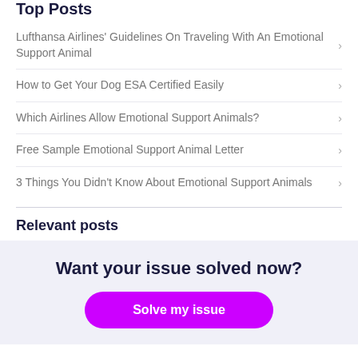Top Posts
Lufthansa Airlines' Guidelines On Traveling With An Emotional Support Animal
How to Get Your Dog ESA Certified Easily
Which Airlines Allow Emotional Support Animals?
Free Sample Emotional Support Animal Letter
3 Things You Didn't Know About Emotional Support Animals
Relevant posts
Want your issue solved now?
Solve my issue